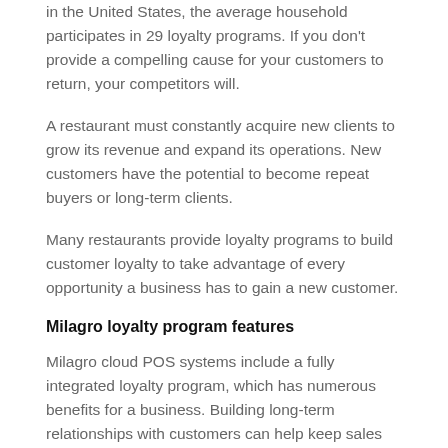in the United States, the average household participates in 29 loyalty programs. If you don't provide a compelling cause for your customers to return, your competitors will.
A restaurant must constantly acquire new clients to grow its revenue and expand its operations. New customers have the potential to become repeat buyers or long-term clients.
Many restaurants provide loyalty programs to build customer loyalty to take advantage of every opportunity a business has to gain a new customer.
Milagro loyalty program features
Milagro cloud POS systems include a fully integrated loyalty program, which has numerous benefits for a business. Building long-term relationships with customers can help keep sales